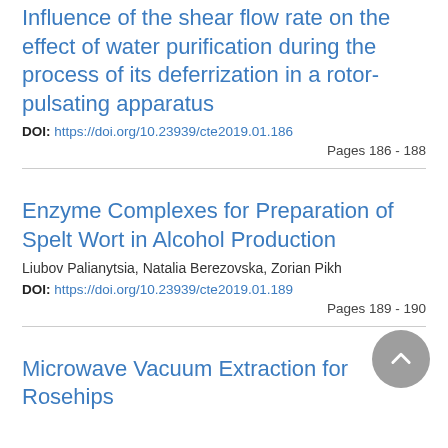Influence of the shear flow rate on the effect of water purification during the process of its deferrization in a rotor-pulsating apparatus
DOI: https://doi.org/10.23939/cte2019.01.186
Pages 186 - 188
Enzyme Complexes for Preparation of Spelt Wort in Alcohol Production
Liubov Palianytsia, Natalia Berezovska, Zorian Pikh
DOI: https://doi.org/10.23939/cte2019.01.189
Pages 189 - 190
Microwave Vacuum Extraction for Rosehips